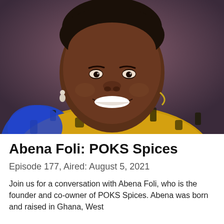[Figure (photo): Portrait photo of Abena Foli, a smiling woman wearing a blue and yellow African print top and earrings, against a brown/purple background]
Abena Foli: POKS Spices
Episode 177, Aired: August 5, 2021
Join us for a conversation with Abena Foli, who is the founder and co-owner of POKS Spices. Abena was born and raised in Ghana, West